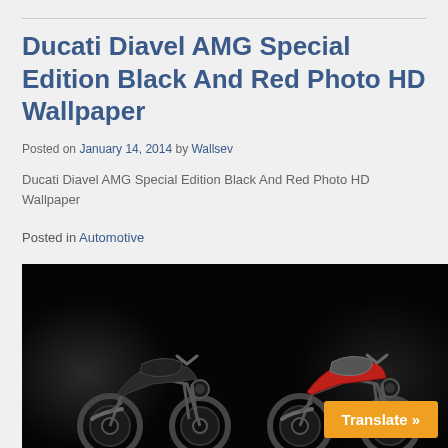Ducati Diavel AMG Special Edition Black And Red Photo HD Wallpaper
Posted on January 14, 2014 by Wallsev
Ducati Diavel AMG Special Edition Black And Red Photo HD Wallpaper
Posted in Automotive
[Figure (photo): Two Ducati Diavel AMG Special Edition motorcycles side by side on a dark background — one black on the left, one red and silver on the right.]